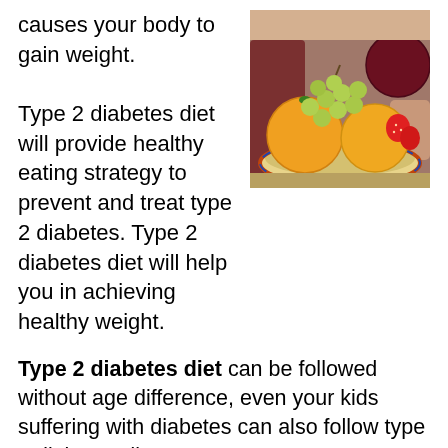causes your body to gain weight.
[Figure (photo): A plate of fresh fruits including oranges, grapes, apples, and strawberries held by a person]
Type 2 diabetes diet will provide healthy eating strategy to prevent and treat type 2 diabetes. Type 2 diabetes diet will help you in achieving healthy weight.
Type 2 diabetes diet can be followed without age difference, even your kids suffering with diabetes can also follow type 2 diabetes diet.
The initial effect of type 2 diabetes will produce abnormal rise in blood sugar after meals.
Following Type 2 diabetes diet to